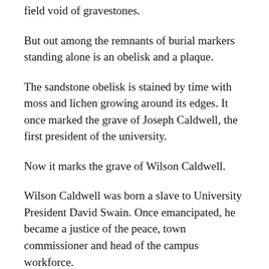field void of gravestones.
But out among the remnants of burial markers standing alone is an obelisk and a plaque.
The sandstone obelisk is stained by time with moss and lichen growing around its edges. It once marked the grave of Joseph Caldwell, the first president of the university.
Now it marks the grave of Wilson Caldwell.
Wilson Caldwell was born a slave to University President David Swain. Once emancipated, he became a justice of the peace, town commissioner and head of the campus workforce.
His father, November Caldwell, was a slave to Joseph Caldwell. His son’s grave is now marked with